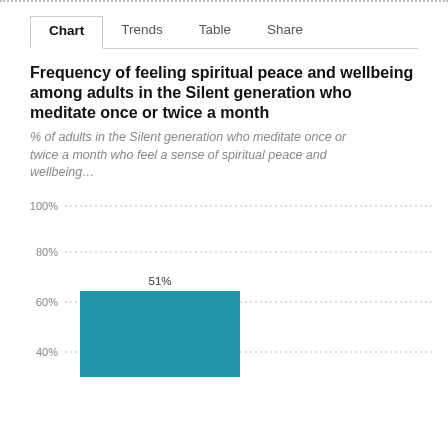Chart | Trends | Table | Share
Frequency of feeling spiritual peace and wellbeing among adults in the Silent generation who meditate once or twice a month
% of adults in the Silent generation who meditate once or twice a month who feel a sense of spiritual peace and wellbeing…
[Figure (bar-chart): Frequency of feeling spiritual peace and wellbeing among adults in the Silent generation who meditate once or twice a month]